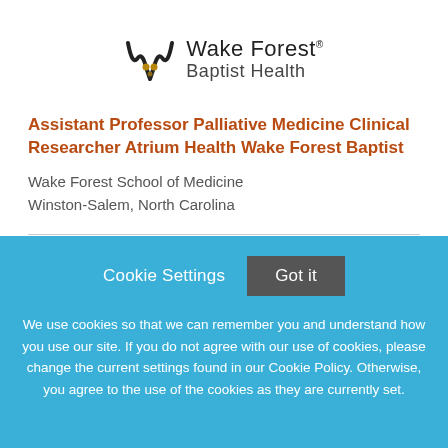[Figure (logo): Wake Forest Baptist Health logo with stylized W icon and text]
Assistant Professor Palliative Medicine Clinical Researcher Atrium Health Wake Forest Baptist
Wake Forest School of Medicine
Winston-Salem, North Carolina
Cookie Settings  Got it
We use cookies so that we can remember you and understand how you use our site. If you do not agree with our use of cookies, please change the current settings found in our Cookie Policy. Otherwise, you agree to the use of the cookies as they are currently set.